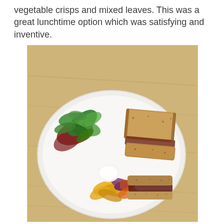vegetable crisps and mixed leaves. This was a great lunchtime option which was satisfying and inventive.
[Figure (photo): A white plate on a wooden table containing a sandwich made with seeded wholegrain bread, accompanied by mixed salad leaves and colourful vegetable crisps.]